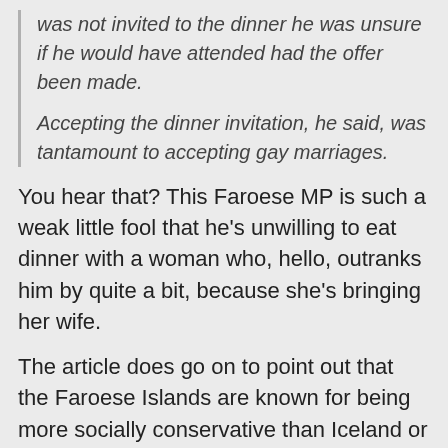was not invited to the dinner he was unsure if he would have attended had the offer been made.
Accepting the dinner invitation, he said, was tantamount to accepting gay marriages.
You hear that? This Faroese MP is such a weak little fool that he's unwilling to eat dinner with a woman who, hello, outranks him by quite a bit, because she's bringing her wife.
The article does go on to point out that the Faroese Islands are known for being more socially conservative than Iceland or the Scandinavian countries, but their politicians need to grow into full adults if they expect to be treated as such. The female prime minister of Iceland has a wife. Deal with it.